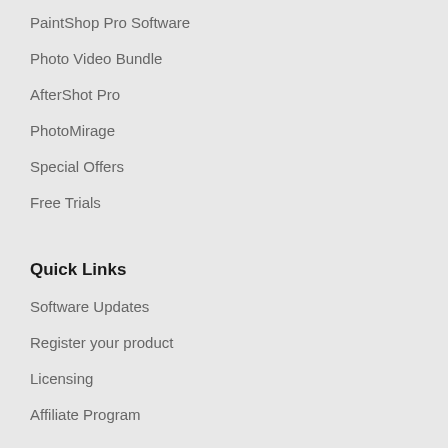PaintShop Pro Software
Photo Video Bundle
AfterShot Pro
PhotoMirage
Special Offers
Free Trials
Quick Links
Software Updates
Register your product
Licensing
Affiliate Program